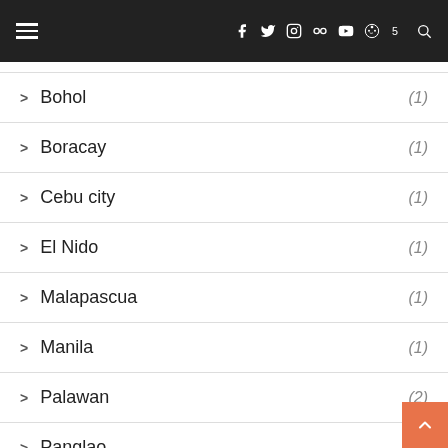Navigation header with social media icons
Bohol (1)
Boracay (1)
Cebu city (1)
El Nido (1)
Malapascua (1)
Manila (1)
Palawan (2)
Panglao (1)
Port Barton (1)